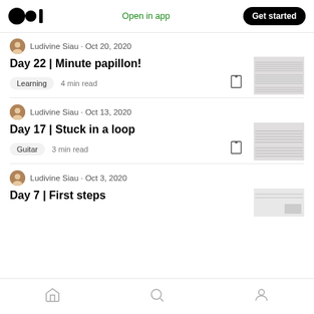Medium logo | Open in app | Get started
Ludivine Siau · Oct 20, 2020
Day 22 | Minute papillon!
Learning  4 min read
Ludivine Siau · Oct 13, 2020
Day 17 | Stuck in a loop
Guitar  3 min read
Ludivine Siau · Oct 3, 2020
Day 7 | First steps
Home | Search | Profile